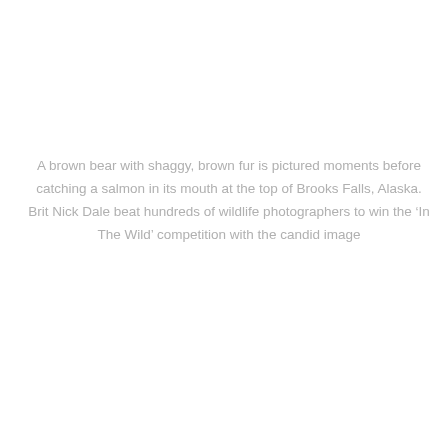A brown bear with shaggy, brown fur is pictured moments before catching a salmon in its mouth at the top of Brooks Falls, Alaska. Brit Nick Dale beat hundreds of wildlife photographers to win the ‘In The Wild’ competition with the candid image